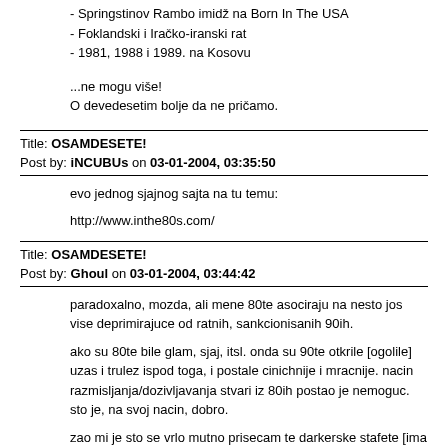- Springstinov Rambo imidž na Born In The USA
- Foklandski i Iračko-iranski rat
- 1981, 1988 i 1989. na Kosovu
...ne mogu više!
O devedesetim bolje da ne pričamo.
Title: OSAMDESETE!
Post by: iNCUBUs on 03-01-2004, 03:35:50
evo jednog sjajnog sajta na tu temu:

http://www.inthe80s.com/
Title: OSAMDESETE!
Post by: Ghoul on 03-01-2004, 03:44:42
paradoxalno, mozda, ali mene 80te asociraju na nesto jos vise deprimirajuce od ratnih, sankcionisanih 90ih.

ako su 80te bile glam, sjaj, itsl. onda su 90te otkrile [ogolile] uzas i trulez ispod toga, i postale cinichnije i mracnije. nacin razmisljanja/dozivljavanja stvari iz 80ih postao je nemoguc. sto je, na svoj nacin, dobro.

zao mi je sto se vrlo mutno prisecam te darkerske stafete [ima li to neko snimljeno?], iako je i meni jedno od prvih secanja u